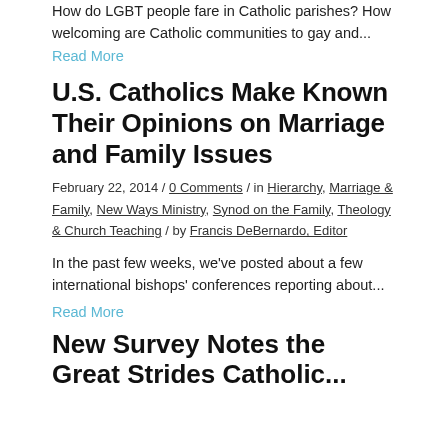How do LGBT people fare in Catholic parishes?  How welcoming are Catholic communities to gay and... Read More
U.S. Catholics Make Known Their Opinions on Marriage and Family Issues
February 22, 2014 / 0 Comments / in Hierarchy, Marriage & Family, New Ways Ministry, Synod on the Family, Theology & Church Teaching / by Francis DeBernardo, Editor
In the past few weeks, we've posted about a few international bishops' conferences reporting about...
Read More
New Survey Notes the Great Strides Catholic...